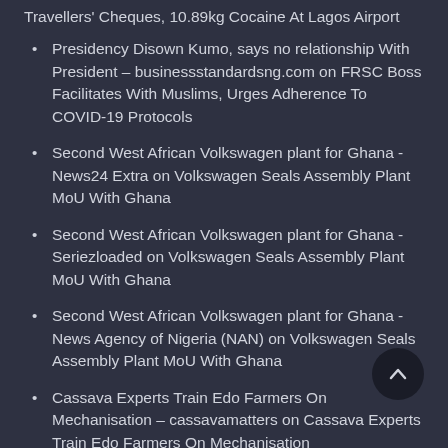Travellers' Cheques, 10.89kg Cocaine At Lagos Airport
Presidency Disown Kumo, says no relationship With President – businessstandardsng.com on FRSC Boss Facilitates With Muslims, Urges Adherence To COVID-19 Protocols
Second West African Volkswagen plant for Ghana - News24 Extra on Volkswagen Seals Assembly Plant MoU With Ghana
Second West African Volkswagen plant for Ghana - Seriezloaded on Volkswagen Seals Assembly Plant MoU With Ghana
Second West African Volkswagen plant for Ghana - News Agency of Nigeria (NAN) on Volkswagen Seals Assembly Plant MoU With Ghana
Cassava Experts Train Edo Farmers On Mechanisation – cassavamatters on Cassava Experts Train Edo Farmers On Mechanisation